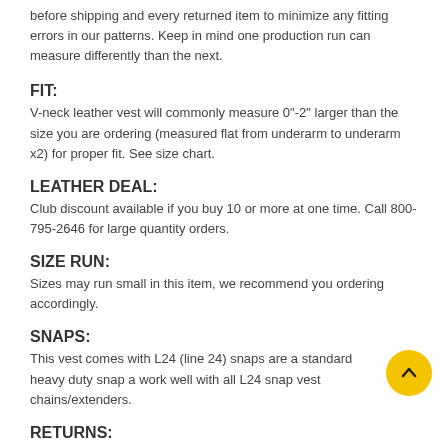before shipping and every returned item to minimize any fitting errors in our patterns. Keep in mind one production run can measure differently than the next.
FIT:
V-neck leather vest will commonly measure 0"-2" larger than the size you are ordering (measured flat from underarm to underarm x2) for proper fit. See size chart.
LEATHER DEAL:
Club discount available if you buy 10 or more at one time. Call 800-795-2646 for large quantity orders.
SIZE RUN:
Sizes may run small in this item, we recommend you ordering accordingly.
SNAPS:
This vest comes with L24 (line 24) snaps are a standard heavy duty snap a work well with all L24 snap vest chains/extenders.
RETURNS: